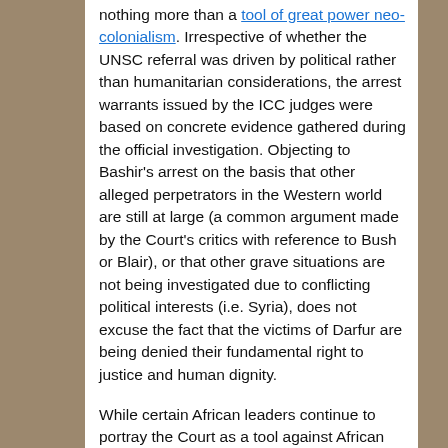nothing more than a tool of great power neo-colonialism. Irrespective of whether the UNSC referral was driven by political rather than humanitarian considerations, the arrest warrants issued by the ICC judges were based on concrete evidence gathered during the official investigation. Objecting to Bashir's arrest on the basis that other alleged perpetrators in the Western world are still at large (a common argument made by the Court's critics with reference to Bush or Blair), or that other grave situations are not being investigated due to conflicting political interests (i.e. Syria), does not excuse the fact that the victims of Darfur are being denied their fundamental right to justice and human dignity.
While certain African leaders continue to portray the Court as a tool against African leaders...